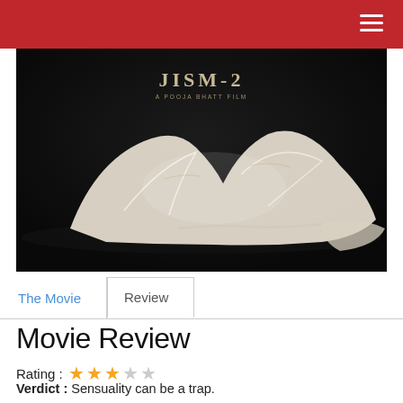[Figure (photo): Movie poster for JISM-2, a Pooja Bhatt film. A figure draped in translucent white fabric lies on a dark surface against a dark background. The text 'JISM-2' and 'A POOJA BHATT FILM' appears at the top.]
The Movie   Review
Movie Review
Rating : ★★★☆☆
Verdict : Sensuality can be a trap.